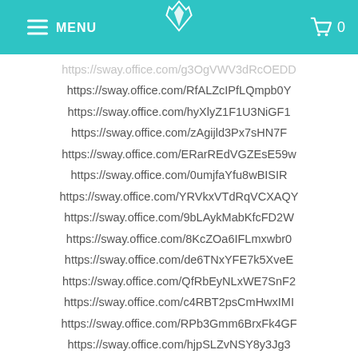MENU | [logo] | 0
https://sway.office.com/g3OgVWV3dRcOEDD
https://sway.office.com/RfALZcIPfLQmpb0Y
https://sway.office.com/hyXlyZ1F1U3NiGF1
https://sway.office.com/zAgijld3Px7sHN7F
https://sway.office.com/ERarREdVGZEsE59w
https://sway.office.com/0umjfaYfu8wBISIR
https://sway.office.com/YRVkxVTdRqVCXAQY
https://sway.office.com/9bLAykMabKfcFD2W
https://sway.office.com/8KcZOa6IFLmxwbr0
https://sway.office.com/de6TNxYFE7k5XveE
https://sway.office.com/QfRbEyNLxWE7SnF2
https://sway.office.com/c4RBT2psCmHwxIMI
https://sway.office.com/RPb3Gmm6BrxFk4GF
https://sway.office.com/hjpSLZvNSY8y3Jg3
https://sway.office.com/EA32lByzwaBJGa9c
https://sway.office.com/aujMBljcSwPltFUi
https://sway.office.com/S69ssTuoyD9nc2Yr
https://sway.office.com/yne7FhFD7iLliYvvc